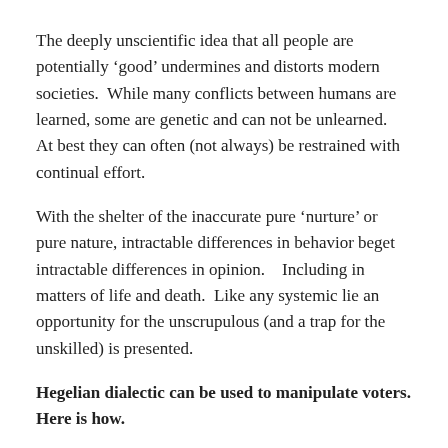The deeply unscientific idea that all people are potentially ‘good’ undermines and distorts modern societies.  While many conflicts between humans are learned, some are genetic and can not be unlearned.   At best they can often (not always) be restrained with continual effort.
With the shelter of the inaccurate pure ‘nurture’ or pure nature, intractable differences in behavior beget intractable differences in opinion.   Including in matters of life and death.  Like any systemic lie an opportunity for the unscrupulous (and a trap for the unskilled) is presented.
Hegelian dialectic can be used to manipulate voters. Here is how.
1. THE LONG CON (perform infrequently):  Two groups of voters who oppose each other on life or death issues are needed.  Create a 2 way false dilemma with life and death